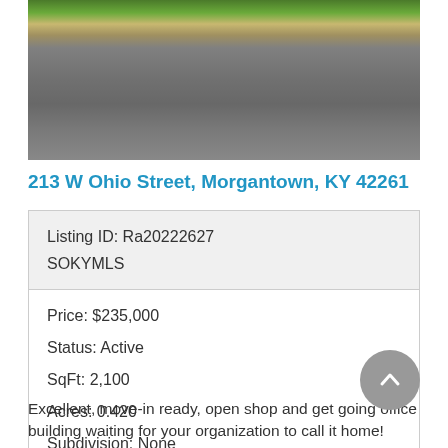[Figure (photo): Street-level photo of a property showing a road, curb, grass strip, and sky at the top edge.]
213 W Ohio Street, Morgantown, KY 42261
| Listing ID: Ra20222627 |
| SOKYMLS |
| Price: $235,000 |
| Status: Active |
| SqFt: 2,100 |
| Acres: 0.420 |
| Subdivision: None |
Excellent, move-in ready, open shop and get going office building waiting for your organization to call it home!